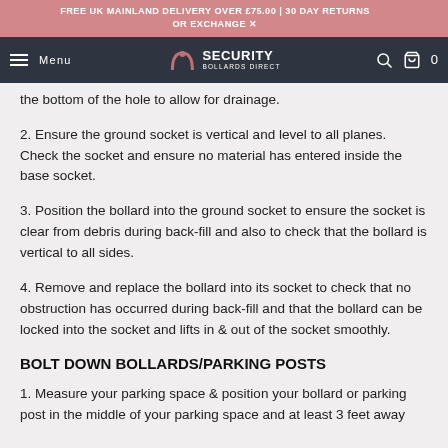FREE UK MAINLAND DELIVERY OVER £75.00 | 30 DAY RETURNS OR EXCHANGE
Security Bollards Direct — Menu — Search — Cart 0
the bottom of the hole to allow for drainage.
2. Ensure the ground socket is vertical and level to all planes. Check the socket and ensure no material has entered inside the base socket.
3. Position the bollard into the ground socket to ensure the socket is clear from debris during back-fill and also to check that the bollard is vertical to all sides.
4. Remove and replace the bollard into its socket to check that no obstruction has occurred during back-fill and that the bollard can be locked into the socket and lifts in & out of the socket smoothly.
BOLT DOWN BOLLARDS/PARKING POSTS
1. Measure your parking space & position your bollard or parking post in the middle of your parking space and at least 3 feet away